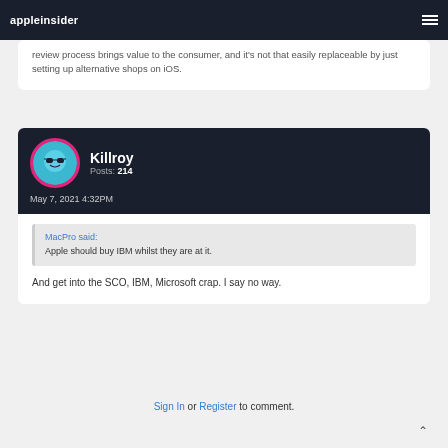appleinsider
review process brings value to the consumer, and it's not that easily replaceable by just setting up alternative shops on iOS.
Killroy
Posts: 214
May 7, 2021 4:32PM
MacPro said:
Apple should buy IBM whilst they are at it.
And get into the SCO, IBM, Microsoft crap. I say no way.
Sign In or Register to comment.